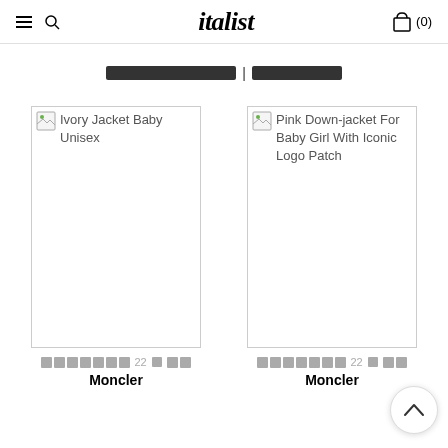italist (0)
[redacted breadcrumb] | [redacted breadcrumb]
[Figure (screenshot): Product image placeholder for Ivory Jacket Baby Unisex by Moncler]
Ivory Jacket Baby Unisex
Moncler
[Figure (screenshot): Product image placeholder for Pink Down-jacket For Baby Girl With Iconic Logo Patch by Moncler]
Pink Down-jacket For Baby Girl With Iconic Logo Patch
Moncler